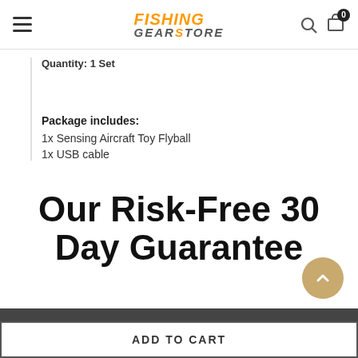FISHING GEARSTORE
Quantity: 1 Set
Package includes:
1x Sensing Aircraft Toy Flyball
1x USB cable
Our Risk-Free 30 Day Guarantee
Worldwide Express Shipping Available. Ship within 24 Hours after Payment with...